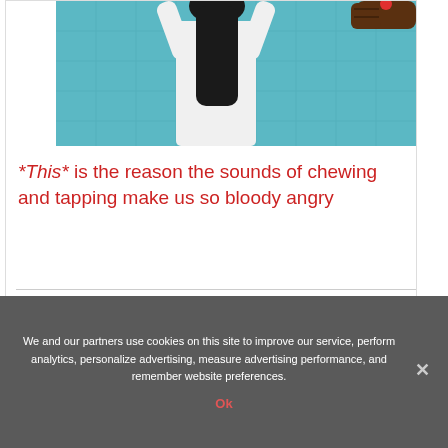[Figure (photo): A woman with long dark hair, seen from behind, wearing a white top, with raised arms. A dark-skinned arm with a fist is visible on the right side. Background is a teal/blue tiled wall.]
*This* is the reason the sounds of chewing and tapping make us so bloody angry
We and our partners use cookies on this site to improve our service, perform analytics, personalize advertising, measure advertising performance, and remember website preferences.
Ok